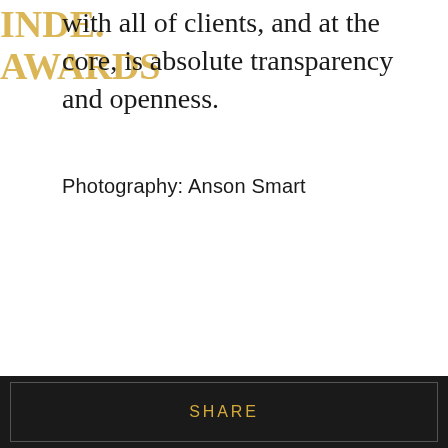with all of clients, and at the core, is absolute transparency and openness.
Photography: Anson Smart
SHARE